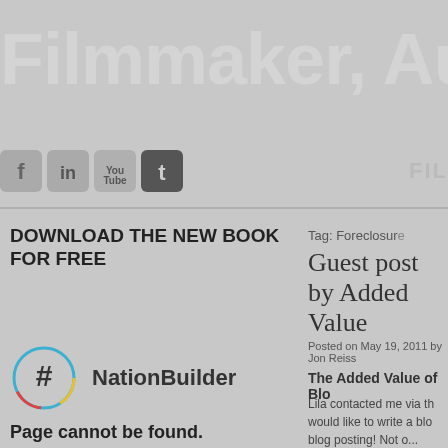Filmmaker, Author
[Figure (screenshot): Social media icons: Facebook, LinkedIn, YouTube, Twitter]
FIL
DOWNLOAD THE NEW BOOK FOR FREE
[Figure (logo): NationBuilder hashtag logo with colored circle]
Page cannot be found.
Tag: Foreclosure
Guest post by Added Value
Posted on May 19, 2011 by Jon Reiss
The Added Value of Blo
Lila contacted me via th would like to write a blo blog posting! Not o...